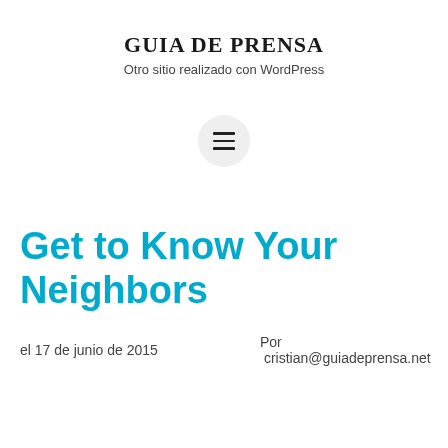GUIA DE PRENSA
Otro sitio realizado con WordPress
[Figure (other): Hamburger menu button icon inside a circular gray background]
Get to Know Your Neighbors
el 17 de junio de 2015    Por  cristian@guiadeprensa.net